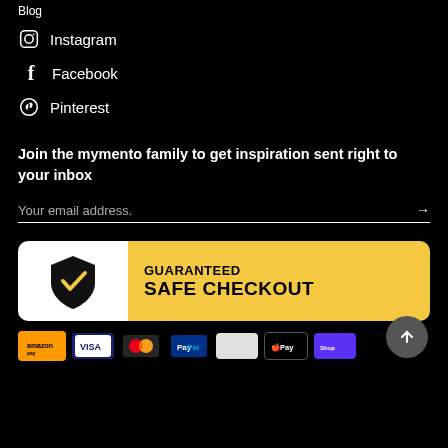Blog
Instagram
Facebook
Pinterest
Join the mymento family to get inspiration sent right to your inbox
Your email address.
[Figure (infographic): Guaranteed Safe Checkout banner with shield checkmark icon on white background left side and gold/yellow right side with bold text]
[Figure (infographic): Payment method icons row: Amazon, Visa, Mastercard, PayPal, and others]